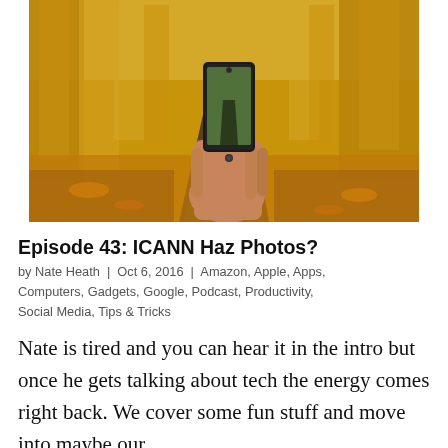[Figure (photo): A hand holding a smartphone taking a photo of an autumn forest path lined with yellow-orange trees and fallen leaves.]
Episode 43: ICANN Haz Photos?
by Nate Heath | Oct 6, 2016 | Amazon, Apple, Apps, Computers, Gadgets, Google, Podcast, Productivity, Social Media, Tips & Tricks
Nate is tired and you can hear it in the intro but once he gets talking about tech the energy comes right back. We cover some fun stuff and move into maybe our